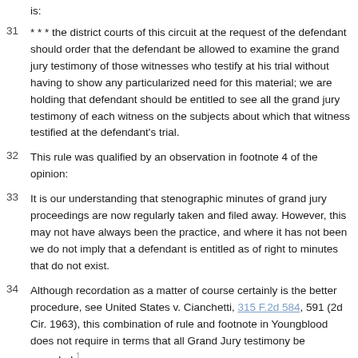is:
31  * * * the district courts of this circuit at the request of the defendant should order that the defendant be allowed to examine the grand jury testimony of those witnesses who testify at his trial without having to show any particularized need for this material; we are holding that defendant should be entitled to see all the grand jury testimony of each witness on the subjects about which that witness testified at the defendant's trial.
32  This rule was qualified by an observation in footnote 4 of the opinion:
33  It is our understanding that stenographic minutes of grand jury proceedings are now regularly taken and filed away. However, this may not have always been the practice, and where it has not been we do not imply that a defendant is entitled as of right to minutes that do not exist.
34  Although recordation as a matter of course certainly is the better procedure, see United States v. Cianchetti, 315 F.2d 584, 591 (2d Cir. 1963), this combination of rule and footnote in Youngblood does not require in terms that all Grand Jury testimony be recorded.1 Moreover, the above-quoted language qualified by the instant...